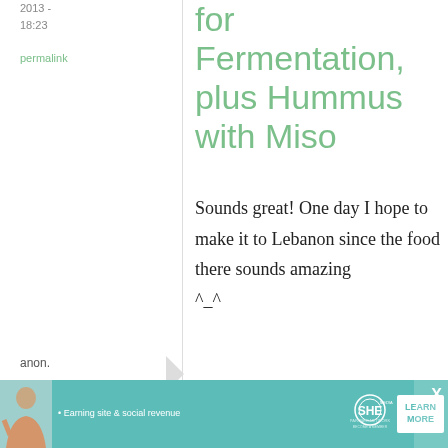2013 - 18:23
permalink
for Fermentation, plus Hummus with Miso
Sounds great! One day I hope to make it to Lebanon since the food there sounds amazing ^_^
anon.
[Figure (infographic): SHE Partner Network advertisement banner with woman photo, earning site and social revenue text, SHE logo, and LEARN MORE button]
Re: Le...